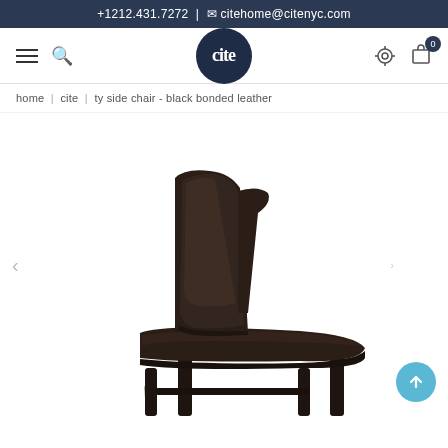+1212.431.7272 | citehome@citenyc.com
[Figure (logo): Cite home logo: dark navy circle with white lowercase 'cite' text]
home | cite | ty side chair - black bonded leather
[Figure (photo): Product photo of a black bonded leather side chair (Ty Side Chair) shown from a side angle on white background]